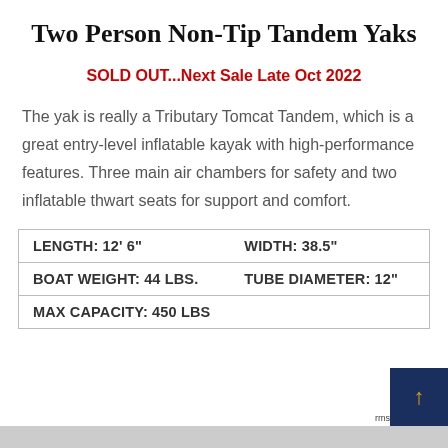Two Person Non-Tip Tandem Yaks
SOLD OUT...Next Sale Late Oct 2022
The yak is really a Tributary Tomcat Tandem, which is a great entry-level inflatable kayak with high-performance features. Three main air chambers for safety and two inflatable thwart seats for support and comfort.
| LENGTH: 12' 6" | WIDTH: 38.5" |
| BOAT WEIGHT: 44 LBS. | TUBE DIAMETER: 12" |
| MAX CAPACITY: 450 LBS |  |